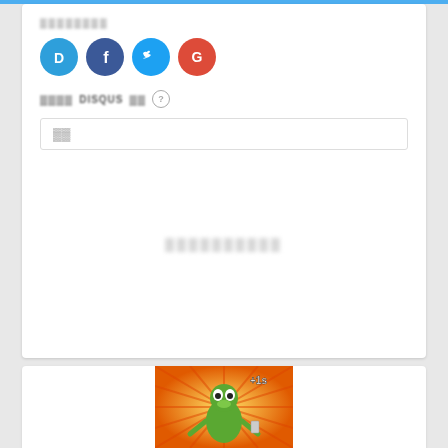[Figure (screenshot): Disqus comment widget UI with social login icons (Disqus, Facebook, Twitter, Google), a name input field, empty comment area with blurred placeholder text, and a footer with email/flag icons and DISQUS branding logo]
[Figure (photo): Kermit the Frog meme image with sunburst orange and yellow background, showing Kermit holding a phone with '+1s' text overlay]